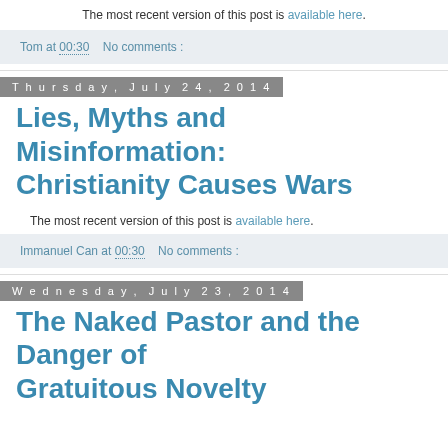The most recent version of this post is available here.
Tom at 00:30   No comments :
Thursday, July 24, 2014
Lies, Myths and Misinformation: Christianity Causes Wars
The most recent version of this post is available here.
Immanuel Can at 00:30    No comments :
Wednesday, July 23, 2014
The Naked Pastor and the Danger of Gratuitous Novelty